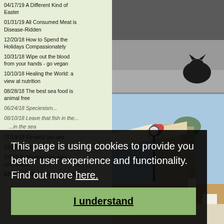04/17/19 A Different Kind of Easter
01/31/19 All Consumed Meat is Disease-Ridden
12/20/18 How to Spend the Holidays Compassionately
10/31/18 Wipe out the blood from your hands - go vegan
10/10/18 Healing the World: a view at nutrition
08/28/18 The best sea food is animal free
06/24/18 Speciesism...
08/10/18 Leave that fish in the...
...in the sea
07/19/18 Respect our sea
03/20/13 Easter with... and from
03/20/18 Meatout Day was celebrated
03/20/18 Without meat = without
[Figure (photo): Close-up photo of what appears to be a black cat on a surface, partially cropped]
[Figure (photo): Street scene with colorful awnings, flower baskets, a street clock, and a European-style building with dome in background; a person walking away]
This page is using cookies to provide you better user experience and functionality. Find out more here.
I understand